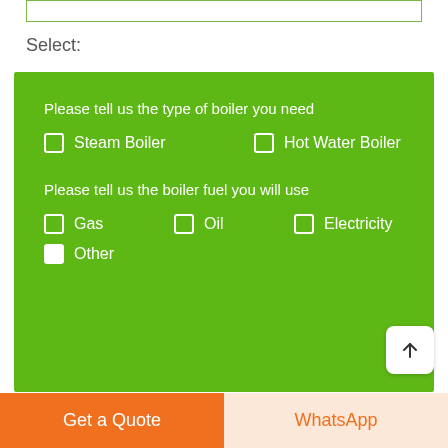Select:
[Figure (screenshot): Green form box with boiler type and fuel selection checkboxes. Questions: 'Please tell us the type of boiler you need' with checkboxes for Steam Boiler and Hot Water Boiler; 'Please tell us the boiler fuel you will use' with checkboxes for Gas, Oil, Electricity, and Other (Other is checked).]
Requirement:
Get a Quote
WhatsApp